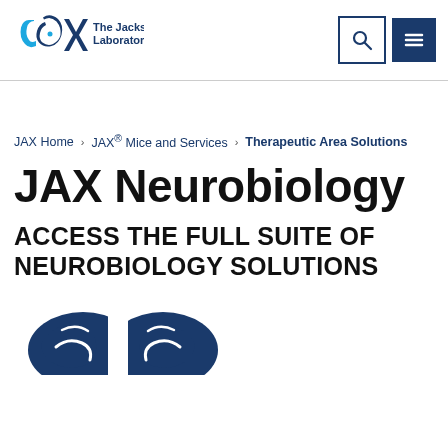[Figure (logo): The Jackson Laboratory logo: stylized JAX letters in blue with The Jackson Laboratory text]
JAX Home > JAX® Mice and Services > Therapeutic Area Solutions
JAX Neurobiology
ACCESS THE FULL SUITE OF NEUROBIOLOGY SOLUTIONS
[Figure (illustration): Partial brain/neurobiology icon in dark blue at the bottom of the page]